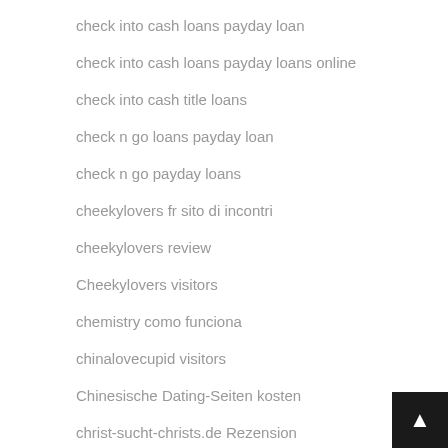check into cash loans payday loan
check into cash loans payday loans online
check into cash title loans
check n go loans payday loan
check n go payday loans
cheekylovers fr sito di incontri
cheekylovers review
Cheekylovers visitors
chemistry como funciona
chinalovecupid visitors
Chinesische Dating-Seiten kosten
christ-sucht-christs.de Rezension
christian cafe fr esperienze